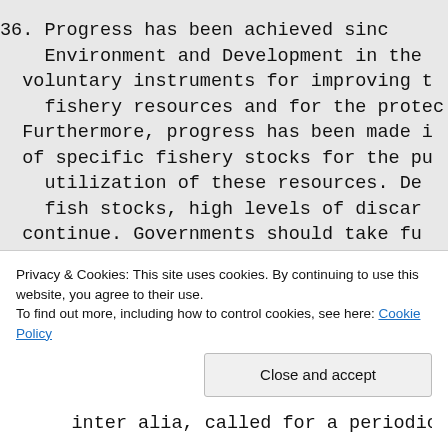36.    Progress has been achieved sinc Environment and Development in the voluntary instruments for improving t fishery resources and for the protec Furthermore, progress has been made i of specific fishery stocks for the pu utilization of these resources.  De fish stocks, high levels of discar continue.  Governments should take fu opportunity presented by the Internat     There is a need to continue to i
Privacy & Cookies: This site uses cookies. By continuing to use this website, you agree to their use.
To find out more, including how to control cookies, see here: Cookie Policy
inter alia, called for a periodic